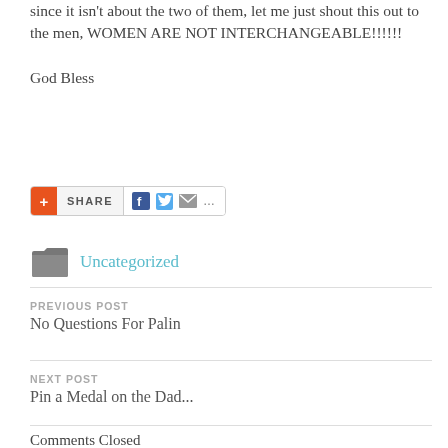since it isn't about the two of them, let me just shout this out to the men, WOMEN ARE NOT INTERCHANGEABLE!!!!!!
God Bless
[Figure (other): Social share bar with AddThis plus button, SHARE label, Facebook icon, Twitter icon, email icon, and ellipsis]
Uncategorized
PREVIOUS POST
No Questions For Palin
NEXT POST
Pin a Medal on the Dad...
Comments Closed